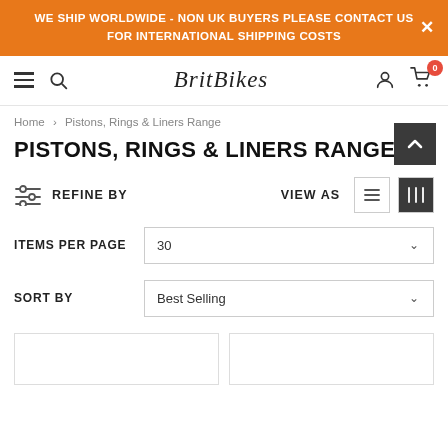WE SHIP WORLDWIDE - NON UK BUYERS PLEASE CONTACT US FOR INTERNATIONAL SHIPPING COSTS
[Figure (screenshot): BritBikes navigation bar with hamburger menu, search icon, brand logo, user icon, and cart icon showing 0 items]
Home > Pistons, Rings & Liners Range
PISTONS, RINGS & LINERS RANGE
REFINE BY   VIEW AS
ITEMS PER PAGE   30
SORT BY   Best Selling